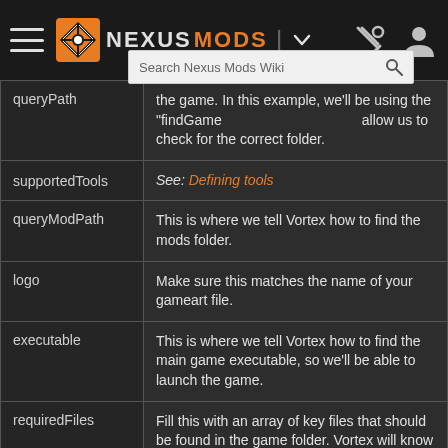NexusMods | header navigation
| Property | Description |
| --- | --- |
| queryPath | the game. In this example, we'll be using the "findGame... allow us to check for the correct folder. |
| supportedTools | See: Defining tools |
| queryModPath | This is where we tell Vortex how to find the mods folder. |
| logo | Make sure this matches the name of your gameart file. |
| executable | This is where we tell Vortex how to find the main game executable, so we'll be able to launch the game. |
| requiredFiles | Fill this with an array of key files that should be found in the game folder. Vortex will know that it has found the correct folder for the game if all requiredFiles are present. |
|  | This property is optional but is used if we need to make the game folder ready to |